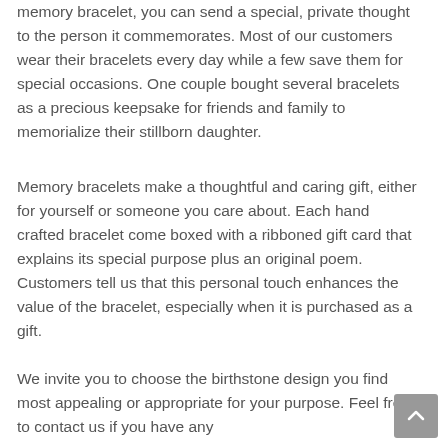memory bracelet, you can send a special, private thought to the person it commemorates. Most of our customers wear their bracelets every day while a few save them for special occasions. One couple bought several bracelets as a precious keepsake for friends and family to memorialize their stillborn daughter.
Memory bracelets make a thoughtful and caring gift, either for yourself or someone you care about. Each hand crafted bracelet come boxed with a ribboned gift card that explains its special purpose plus an original poem. Customers tell us that this personal touch enhances the value of the bracelet, especially when it is purchased as a gift.
We invite you to choose the birthstone design you find most appealing or appropriate for your purpose. Feel free to contact us if you have any